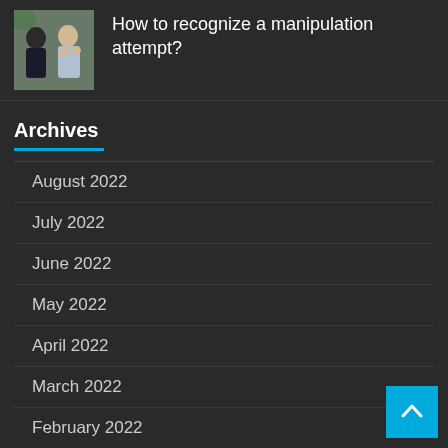[Figure (photo): Two people in conversation, one with hands raised]
How to recognize a manipulation attempt?
Archives
August 2022
July 2022
June 2022
May 2022
April 2022
March 2022
February 2022
January 2022